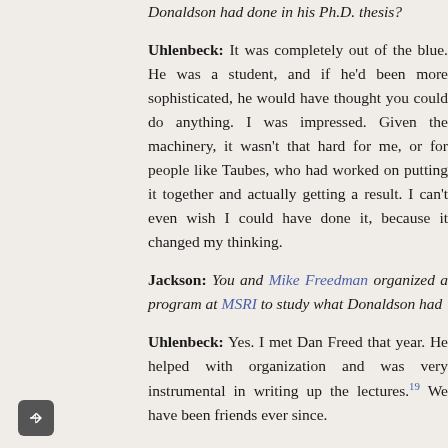Donaldson had done in his Ph.D. thesis?
Uhlenbeck: It was completely out of the bl… student, and if he'd been more sophisticat… would have thought you could do anythin… impressed. Given the machinery, it wasn't t… me, or for people like Taubes, who had w… putting it together and actually getting a … can't even wish I could have done it, becau… my thinking.
Jackson: You and Mike Freedman organize… gram at MSRI to study what Donaldson had
Uhlenbeck: Yes. I met Dan Freed that year. … ganization and was very instrumental in wr… the lectures.19 We have been friends ever si…
We had people coming to the seminar throu… some sense, the topic got easier as the sem…